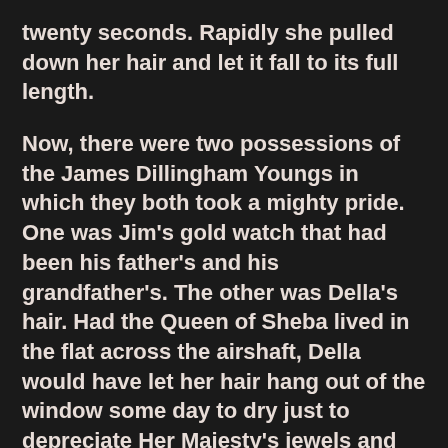twenty seconds. Rapidly she pulled down her hair and let it fall to its full length.
Now, there were two possessions of the James Dillingham Youngs in which they both took a mighty pride. One was Jim's gold watch that had been his father's and his grandfather's. The other was Della's hair. Had the Queen of Sheba lived in the flat across the airshaft, Della would have let her hair hang out of the window some day to dry just to depreciate Her Majesty's jewels and gifts. Had King Solomon been the janitor, with all his treasures piled up in the basement, Jim would have pulled out his watch every time he passed, just to see him pluck at his beard from envy.
So now Della's beautiful hair fell about her, rippling and shining like a cascade of brown waters. It reached below her knee and made itself